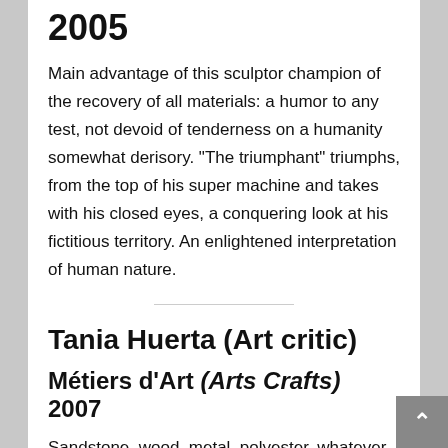2005
Main advantage of this sculptor champion of the recovery of all materials: a humor to any test, not devoid of tenderness on a humanity somewhat derisory. "The triumphant" triumphs, from the top of his super machine and takes with his closed eyes, a conquering look at his fictitious territory. An enlightened interpretation of human nature.
Tania Huerta (Art critic)
Métiers d'Art (Arts Crafts) 2007
Sandstone, wood, metal, polyester, whatever the material, the sculptor has always excelled in